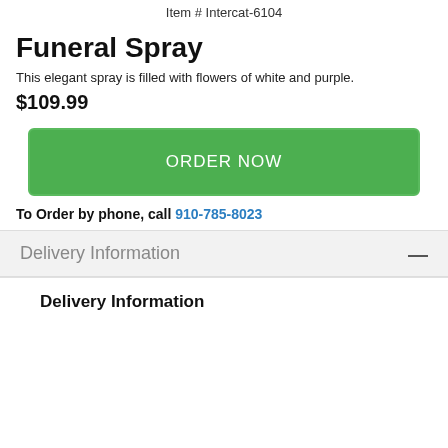Item # Intercat-6104
Funeral Spray
This elegant spray is filled with flowers of white and purple.
$109.99
ORDER NOW
To Order by phone, call 910-785-8023
Delivery Information
Delivery Information